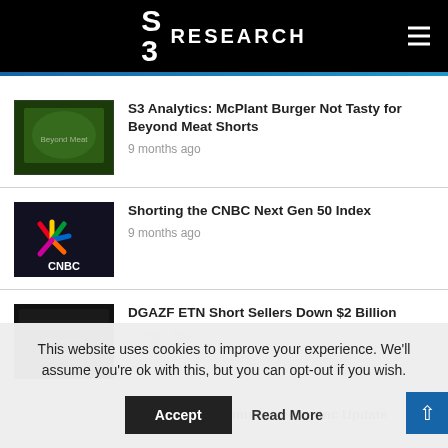S3 RESEARCH
S3 Analytics: McPlant Burger Not Tasty for Beyond Meat Shorts | 9 months ago
Shorting the CNBC Next Gen 50 Index | 9 months ago
DGAZF ETN Short Sellers Down $2 Billion | 2 years ago
S3 Analytics: Immunomedics Inc Update
This website uses cookies to improve your experience. We'll assume you're ok with this, but you can opt-out if you wish.
Accept   Read More